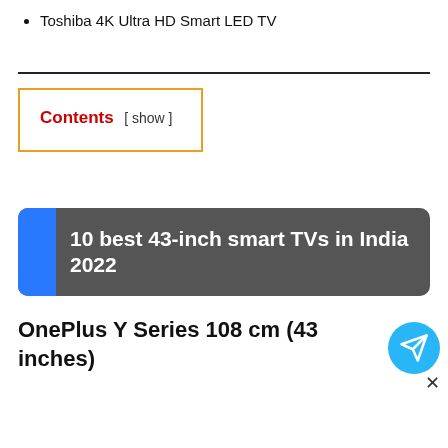Toshiba 4K Ultra HD Smart LED TV
[Figure (infographic): Contents box with orange border showing 'Contents [ show ]' text in red and black]
[Figure (infographic): Dark gray banner with blue left accent bar and white bold text reading '10 best 43-inch smart TVs in India 2022']
OnePlus Y Series 108 cm (43 inches)